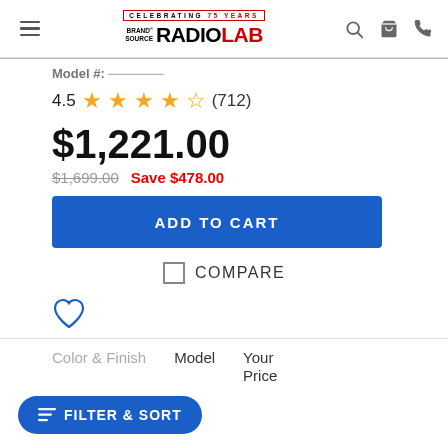Brand Source RadioLab — Celebrating 75 Years
Model #: [partially visible]
4.5 ★★★★½ (712)
$1,221.00
$1,699.00  Save $478.00
ADD TO CART
COMPARE
Color & Finish    Model    Your Price